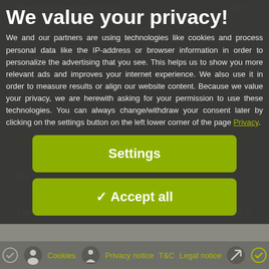We value your privacy!
We and our partners are using technologies like cookies and process personal data like the IP-address or browser information in order to personalize the advertising that you see. This helps us to show you more relevant ads and improves your internet experience. We also use it in order to measure results or align our website content. Because we value your privacy, we are herewith asking for your permission to use these technologies. You can always change/withdraw your consent later by clicking on the settings button on the left lower corner of the page Privacy.
[Figure (screenshot): Settings button (green rounded rectangle)]
[Figure (screenshot): Accept all button (green rounded rectangle with checkmark)]
Cookies   Privacy notice   T&C   Legal notice